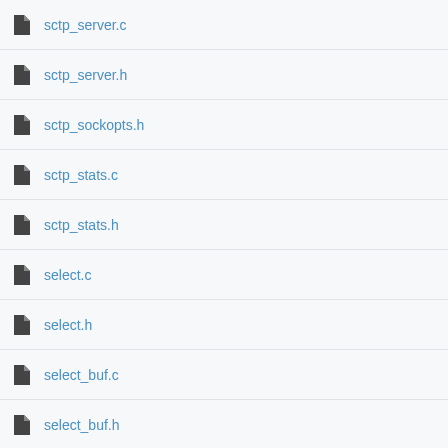sctp_server.c
sctp_server.h
sctp_sockopts.h
sctp_stats.c
sctp_stats.h
select.c
select.h
select_buf.c
select_buf.h
select_core.c
select_core.h
ser_stun.c
ser_stun.h